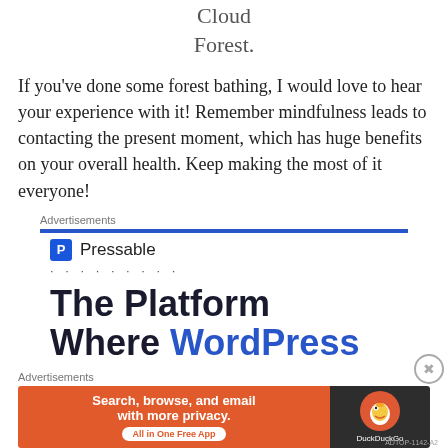Cloud
Forest.
If you've done some forest bathing, I would love to hear your experience with it! Remember mindfulness leads to contacting the present moment, which has huge benefits on your overall health. Keep making the most of it everyone!
Advertisements
[Figure (screenshot): Pressable advertisement banner with blue bar, Pressable logo with P icon, dots row, and large text reading 'The Platform Where WordPress']
Advertisements
[Figure (screenshot): DuckDuckGo advertisement banner: orange left section with 'Search, browse, and email with more privacy. All in One Free App' and dark right section with DuckDuckGo duck logo and brand name]